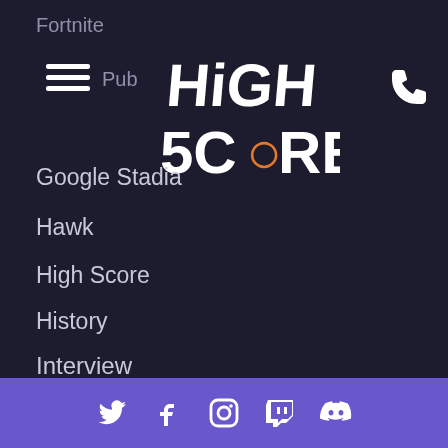Fortnite
[Figure (other): Hamburger menu icon (three white horizontal lines)]
[Figure (logo): High Score logo in stylized white and orange handwritten font]
[Figure (other): Phone icon in white]
Google Stadia
Hawk
High Score
History
Interview
Kids
Mixer
News
News and Updates
Nintendo
opinion
Twitter Facebook Instagram Twitch Discord social icons